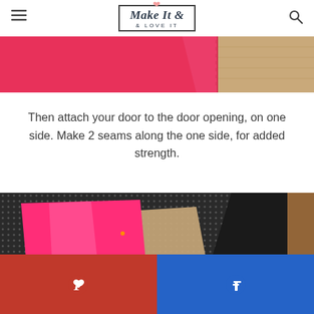Make It & Love It
[Figure (photo): Top strip showing pink/red fabric stitched to tan/burlap fabric with a visible seam line]
Then attach your door to the door opening, on one side. Make 2 seams along the one side, for added strength.
[Figure (photo): Hot pink fabric panel attached to a dark dotted/mesh fabric, showing the sewn door panel on one side with a double seam]
[Figure (other): Social sharing bar with Pinterest (red) and Facebook (blue) buttons at the bottom of the page]